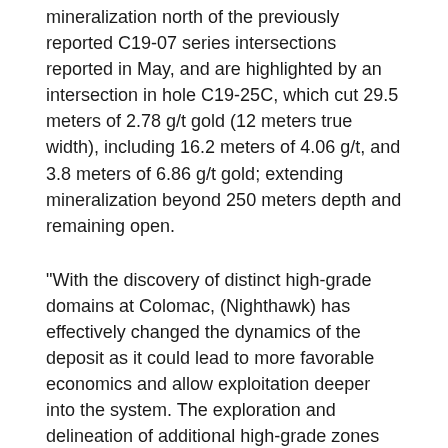mineralization north of the previously reported C19-07 series intersections reported in May, and are highlighted by an intersection in hole C19-25C, which cut 29.5 meters of 2.78 g/t gold (12 meters true width), including 16.2 meters of 4.06 g/t, and 3.8 meters of 6.86 g/t gold; extending mineralization beyond 250 meters depth and remaining open.
"With the discovery of distinct high-grade domains at Colomac, (Nighthawk) has effectively changed the dynamics of the deposit as it could lead to more favorable economics and allow exploitation deeper into the system. The exploration and delineation of additional high-grade zones remains an important focus going forward," the company said.
Nighthawk also identified several high-grade showings and deposits with widespread mineralization in a range of styles across the Indin Lake property. Continued exploration success at satellite targets nearby also supports the explorer's conviction that the Colomac